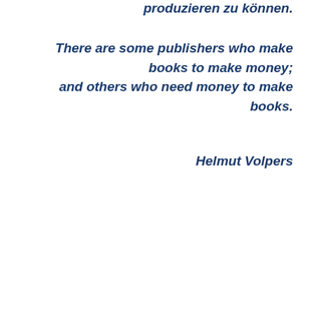produzieren zu können.
There are some publishers who make books to make money;
and others who need money to make books.
Helmut Volpers